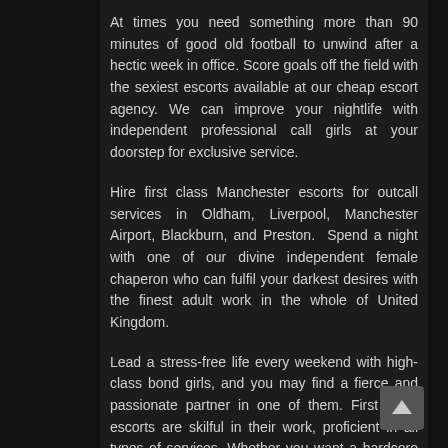At times you need something more than 90 minutes of good old football to unwind after a hectic week in office. Score goals off the field with the sexiest escorts available at our cheap escort agency. We can improve your nightlife with independent professional call girls at your doorstep for exclusive service.
Hire first class Manchester escorts for outcall services in Oldham, Liverpool, Manchester Airport, Blackburn, and Preston. Spend a night with one of our divine independent female chaperon who can fulfil your darkest desires with the finest adult work in the whole of United Kingdom.
Lead a stress-free life every weekend with high-class bond girls, and you may find a fierce and passionate partner in one of them. First class escorts are skilful in their work, proficient in all types of services. Whether you want a hardcore MILF or a submissive petite, you will get the finest of Cheshire escort to enjoy your evening. Reach out to us for an independent partner to